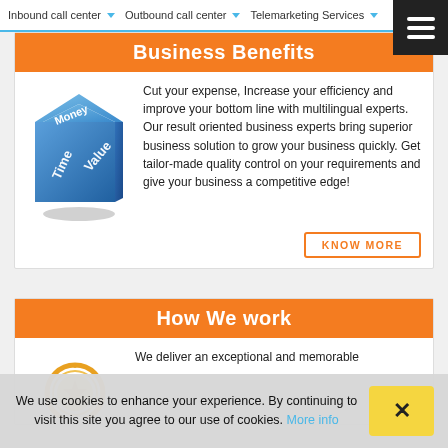Inbound call center | Outbound call center | Telemarketing Services
Business Benefits
[Figure (illustration): Blue 3D dice with text Money, Time, Value on its faces]
Cut your expense, Increase your efficiency and improve your bottom line with multilingual experts. Our result oriented business experts bring superior business solution to grow your business quickly. Get tailor-made quality control on your requirements and give your business a competitive edge!
KNOW MORE
How We work
[Figure (illustration): Gold/orange medal or badge icon]
We deliver an exceptional and memorable
We use cookies to enhance your experience. By continuing to visit this site you agree to our use of cookies. More info